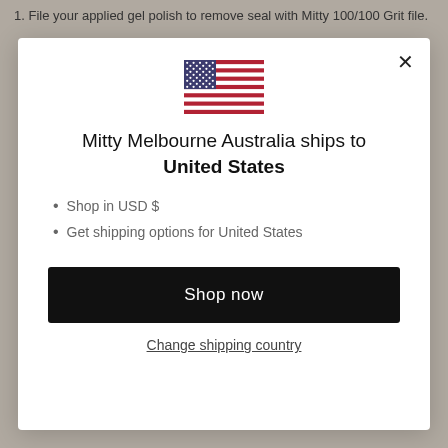1. File your applied gel polish to remove seal with Mitty 100/100 Grit file.
[Figure (screenshot): A modal dialog showing a US flag, text about shipping to United States, bullet points about USD and shipping options, a Shop now button, and a Change shipping country link.]
Mitty Melbourne Australia ships to United States
Shop in USD $
Get shipping options for United States
Shop now
Change shipping country